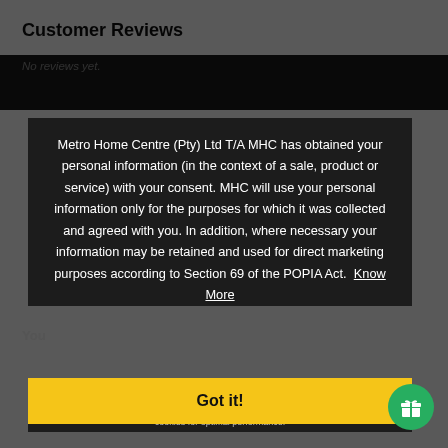Customer Reviews
No reviews yet.
Metro Home Centre (Pty) Ltd T/A MHC has obtained your personal information (in the context of a sale, product or service) with your consent. MHC will use your personal information only for the purposes for which it was collected and agreed with you. In addition, where necessary your information may be retained and used for direct marketing purposes according to Section 69 of the POPIA Act. Know More
This website uses cookies to offer you the most relevant information. Please accept cookies for optimal performance.
Got it!